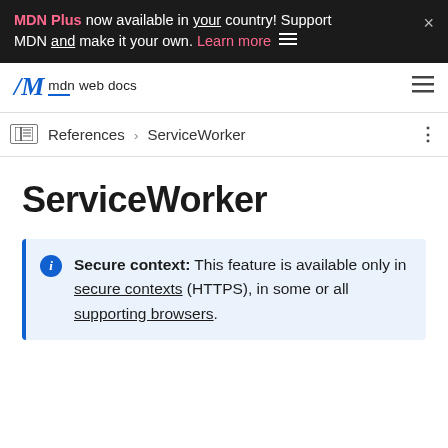MDN Plus now available in your country! Support MDN and make it your own. Learn more
[Figure (logo): MDN Web Docs logo with M slash mark and text 'mdn web docs']
References > ServiceWorker
ServiceWorker
Secure context: This feature is available only in secure contexts (HTTPS), in some or all supporting browsers.